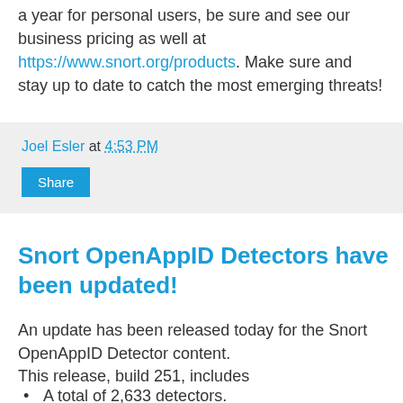a year for personal users, be sure and see our business pricing as well at https://www.snort.org/products. Make sure and stay up to date to catch the most emerging threats!
Joel Esler at 4:53 PM
Share
Snort OpenAppID Detectors have been updated!
An update has been released today for the Snort OpenAppID Detector content.
This release, build 251, includes
A total of 2,633 detectors.
This was a maintenance release with some minor fixes and improvements
It also includes some additional detectors that